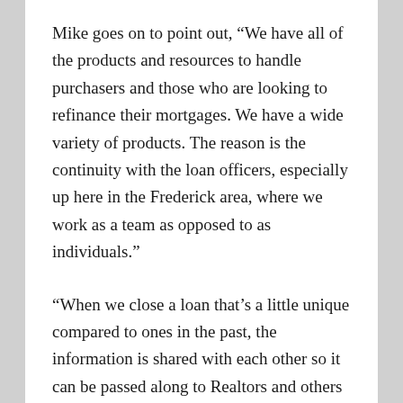Mike goes on to point out, “We have all of the products and resources to handle purchasers and those who are looking to refinance their mortgages. We have a wide variety of products. The reason is the continuity with the loan officers, especially up here in the Frederick area, where we work as a team as opposed to as individuals.”
“When we close a loan that’s a little unique compared to ones in the past, the information is shared with each other so it can be passed along to Realtors and others within the sphere, to explain the benefits of what Presidential has to offer.”